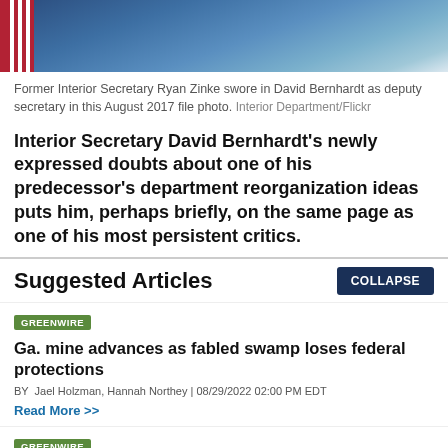[Figure (photo): Photo of Former Interior Secretary Ryan Zinke swearing in David Bernhardt as deputy secretary, August 2017. People in suits with American flag visible.]
Former Interior Secretary Ryan Zinke swore in David Bernhardt as deputy secretary in this August 2017 file photo. Interior Department/Flickr
Interior Secretary David Bernhardt’s newly expressed doubts about one of his predecessor’s department reorganization ideas puts him, perhaps briefly, on the same page as one of his most persistent critics.
Suggested Articles
GREENWIRE
Ga. mine advances as fabled swamp loses federal protections
BY Jael Holzman, Hannah Northey | 08/29/2022 02:00 PM EDT
Read More >>
GREENWIRE
FERC endorses nation’s largest dam removal project